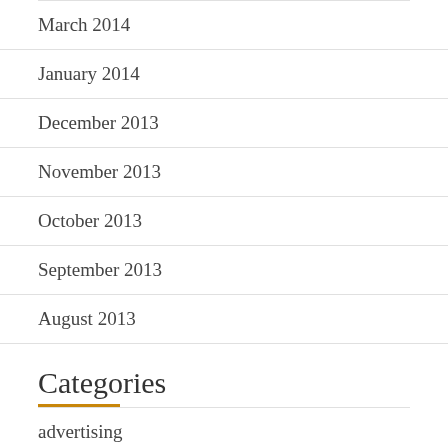March 2014
January 2014
December 2013
November 2013
October 2013
September 2013
August 2013
Categories
advertising
jewellery